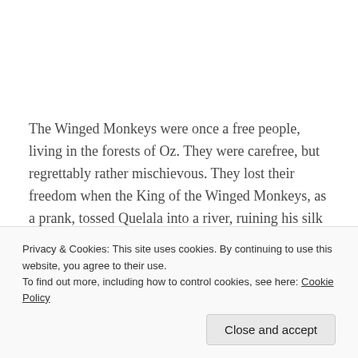The Winged Monkeys were once a free people, living in the forests of Oz. They were carefree, but regrettably rather mischievous. They lost their freedom when the King of the Winged Monkeys, as a prank, tossed Quelala into a river, ruining his silk and velvet outfit. Gayelette (his fiancée) was furious and enslaved them to the Golden Cap, which allows its possessor... colorway fills in the gans and edges to create an easy-
Privacy & Cookies: This site uses cookies. By continuing to use this website, you agree to their use. To find out more, including how to control cookies, see here: Cookie Policy
Close and accept